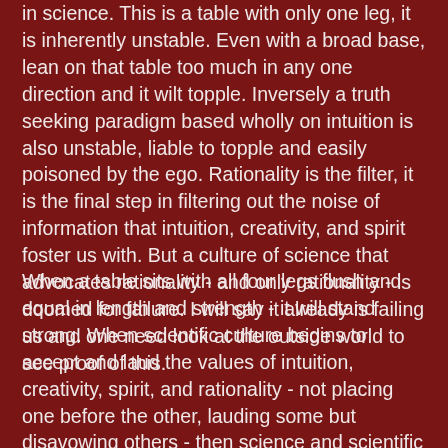in science. This is a table with only one leg, it is inherently unstable. Even with a broad base, lean on that table too much in any one direction and it wilt topple. Inversely a truth seeking paradigm based wholly on intuition is also unstable, liable to topple and easily poisoned by the ego. Rationality is the filter, it is the final step in filtering out the noise of information that intuition, creativity, and spirit foster us with. But a culture of science that advocates rationality - and only rationality - is doomed for failure. I will say it already is failing us and one need look at the outside world to see proof of this.
When a table sits with all four legs flush and equal in length and strength - it will stand strong. When scientific culture begins to accept and laud the values of intuition, creativity, spirit, and rationality - not placing one before the other, lauding some but disavowing others - then science and scientific culture (because the two are separate and don't always walk in lockstep) can walk the path towards truth seeking and become truly unstoppable. The future is not wholly Dr. Spock nor is it wholly Captain Kirk - but a blending of the two. Rationality and logic acting as a filter to intuitive